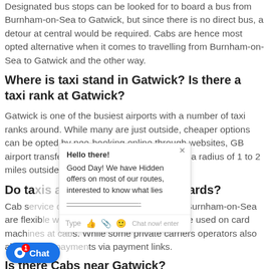Designated bus stops can be looked for to board a bus from Burnham-on-Sea to Gatwick, but since there is no direct bus, a detour at central would be required. Cabs are hence most opted alternative when it comes to travelling from Burnham-on-Sea to Gatwick and the other way.
Where is taxi stand in Gatwick? Is there a taxi rank at Gatwick?
Gatwick is one of the busiest airports with a number of taxi ranks around. While many are just outside, cheaper options can be opted by pee-booking online through websites, GB airport transfers for instance, are available in a radius of 1 to 2 miles outside the airport.
Do ta[xis at Gatwic]k take credit cards?
Cab s[ervice operatin]g runs from Gatwick to Burnham-on-Sea are flexib[le with pay]ments. Credit card can be used on card mach[ines at cab]s. While some private carriers operators also allow[ digital paymen]ts via payment links.
Is there Cabs near Gatwick?